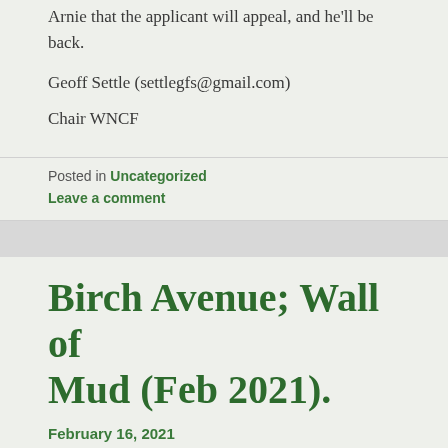Arnie that the applicant will appeal, and he'll be back.
Geoff Settle (settlegfs@gmail.com)
Chair WNCF
Posted in Uncategorized
Leave a comment
Birch Avenue; Wall of Mud (Feb 2021).
February 16, 2021
[Figure (photo): Black and white winter scene with bare birch trees against a snowy/overcast background]